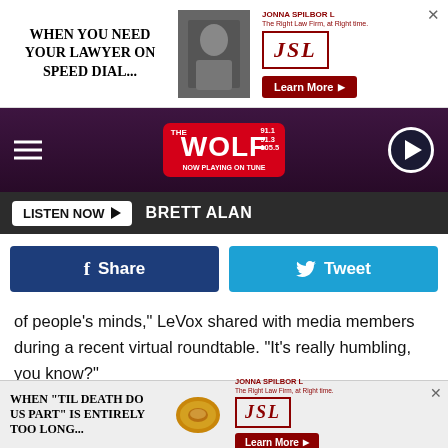[Figure (screenshot): Top advertisement banner: JSL Jonna Spilbor Law - 'When you need your lawyer on speed dial...' with Learn More button]
[Figure (screenshot): The Wolf radio station navigation header with hamburger menu, Wolf logo, and play button circle]
[Figure (screenshot): Dark bar with LISTEN NOW button and BRETT ALAN text]
[Figure (screenshot): Facebook Share and Twitter Tweet social sharing buttons]
of people's minds," LeVox shared with media members during a recent virtual roundtable. "It's really humbling, you know?"
Throughout their two decades in the genre's mainstream, Rascal Flatts — LeVox, Joe Don Rooney and Jay DeMarcus — have earned 20 CMA Awards nominations. They earned
[Figure (screenshot): Bottom advertisement banner: JSL Jonna Spilbor Law - 'When "Til Death Do Us Part" is entirely too long...' with ring image and Learn More button]